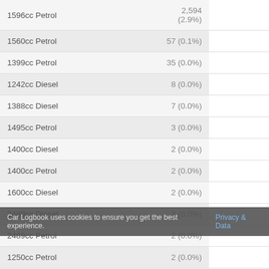| Engine | Count (%) |
| --- | --- |
| 1596cc Petrol | 2,594 (2.9%) |
| 1560cc Petrol | 57 (0.1%) |
| 1399cc Petrol | 35 (0.0%) |
| 1242cc Diesel | 8 (0.0%) |
| 1388cc Diesel | 7 (0.0%) |
| 1495cc Petrol | 3 (0.0%) |
| 1400cc Diesel | 2 (0.0%) |
| 1400cc Petrol | 2 (0.0%) |
| 1600cc Diesel | 2 (0.0%) |
| 2489cc Diesel | 2 (0.0%) |
| 2489cc Petrol | 2 (0.0%) |
| 1250cc Petrol | 2 (0.0%) |
| 1299cc Petrol | 2 (0.0%) |
| 1368cc Petrol | 1 (0.0%) |
| 133cc Petrol | 1 (0.0%) |
Car Logbook uses cookies to ensure you get the best experience. Privacy & Data